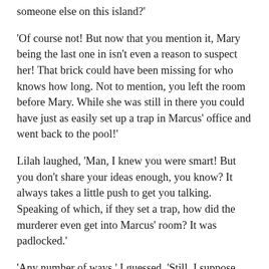someone else on this island?'
'Of course not! But now that you mention it, Mary being the last one in isn't even a reason to suspect her! That brick could have been missing for who knows how long. Not to mention, you left the room before Mary. While she was still in there you could have just as easily set up a trap in Marcus' office and went back to the pool!'
Lilah laughed, 'Man, I knew you were smart! But you don't share your ideas enough, you know? It always takes a little push to get you talking. Speaking of which, if they set a trap, how did the murderer even get into Marcus' room? It was padlocked.'
'Any number of ways,' I guessed. 'Still, I suppose that makes Marcus suspicious because we know he knows the code. Assuming it wasn't him, it would be easy for someone to sneak up and watch him type it in.'
'That'd probably be even easier with a good memory…'
'Watch it.'